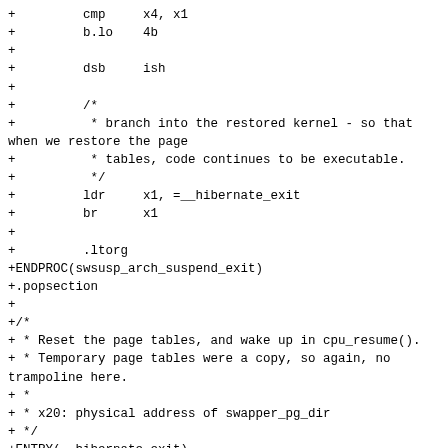+         cmp     x4, x1
+         b.lo    4b
+
+         dsb     ish
+
+         /*
+          * branch into the restored kernel - so that when we restore the page
+          * tables, code continues to be executable.
+          */
+         ldr     x1, =__hibernate_exit
+         br      x1
+
+         .ltorg
+ENDPROC(swsusp_arch_suspend_exit)
+.popsection
+
+/*
+ * Reset the page tables, and wake up in cpu_resume().
+ * Temporary page tables were a copy, so again, no trampoline here.
+ *
+ * x20: physical address of swapper_pg_dir
+ */
+ENTRY(__hibernate_exit)
+         msr     ttbr1_el1, x20
+         isb
+         tlbi    vmalle1is
+         ic      ialluis
+         isb